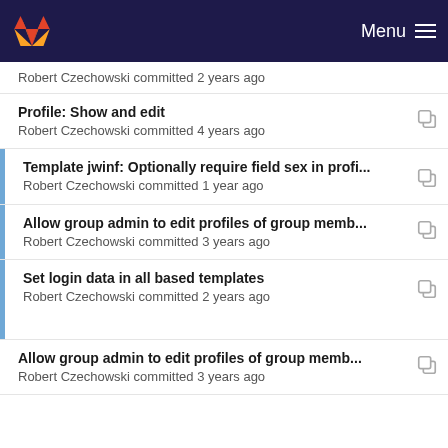Menu
Robert Czechowski committed 2 years ago
Profile: Show and edit
Robert Czechowski committed 4 years ago
Template jwinf: Optionally require field sex in profi...
Robert Czechowski committed 1 year ago
Allow group admin to edit profiles of group memb...
Robert Czechowski committed 3 years ago
Set login data in all based templates
Robert Czechowski committed 2 years ago
Allow group admin to edit profiles of group memb...
Robert Czechowski committed 3 years ago